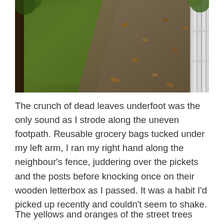[Figure (photo): A footpath/sidewalk with dead leaves scattered on dark pavement, flanked by a grass lawn on the left and a white picket fence on the right. A tree trunk is visible at the top left.]
The crunch of dead leaves underfoot was the only sound as I strode along the uneven footpath. Reusable grocery bags tucked under my left arm, I ran my right hand along the neighbour's fence, juddering over the pickets and the posts before knocking once on their wooden letterbox as I passed. It was a habit I'd picked up recently and couldn't seem to shake.
The yellows and oranges of the street trees